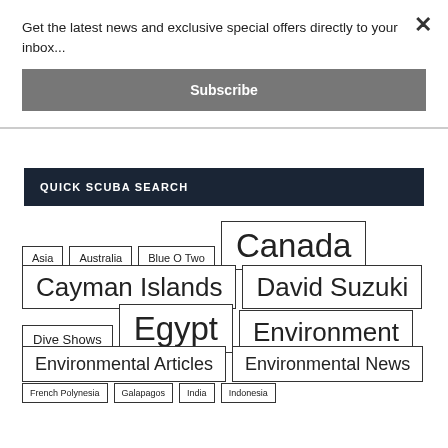Get the latest news and exclusive special offers directly to your inbox...
Subscribe
QUICK SCUBA SEARCH
Asia
Australia
Blue O Two
Canada
Cayman Islands
David Suzuki
Dive Shows
Egypt
Environment
Environmental Articles
Environmental News
French Polynesia
Galapagos
India
Indonesia